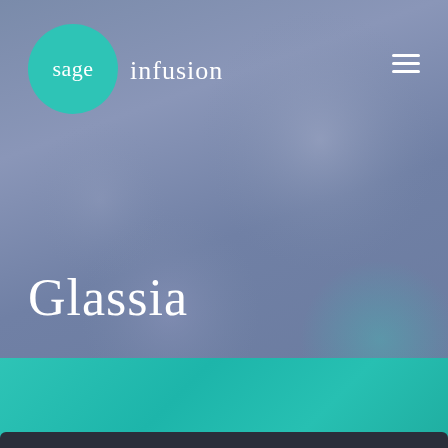[Figure (logo): Sage Infusion logo: teal circle with 'sage' text beside 'infusion' text in white on blue-gray background]
Glassia